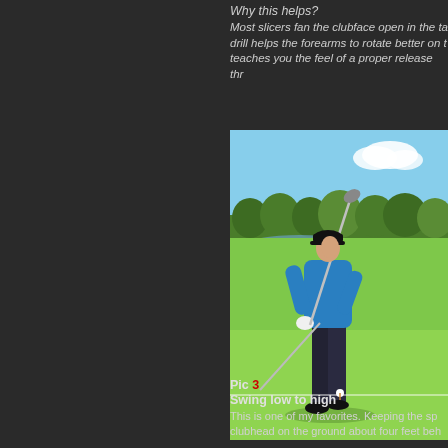Why this helps?
Most slicers fan the clubface open in the ta... drill helps the forearms to rotate better on t... teaches you the feel of a proper release thr...
[Figure (photo): Golfer in blue shirt and black pants practicing a golf swing on a golf course, holding two clubs, with trees and water hazard in background.]
Pic 3
Swing low to high
This is one of my favorites. Keeping the sp... clubhead on the ground about four feet beh...